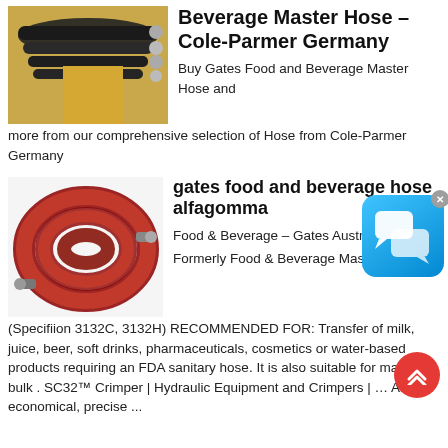[Figure (photo): Photo of black hydraulic hoses with metal fittings attached to a yellow machine]
Beverage Master Hose - Cole-Parmer Germany
Buy Gates Food and Beverage Master Hose and more from our comprehensive selection of Hose from Cole-Parmer Germany
[Figure (photo): Photo of a coiled red food and beverage hose with metal end fittings]
gates food and beverage hose alfagomma
Food & Beverage - Gates Australia. Formerly Food & Beverage Master ® Hose (Specifiion 3132C, 3132H) RECOMMENDED FOR: Transfer of milk, juice, beer, soft drinks, pharmaceuticals, cosmetics or water-based products requiring an FDA sanitary hose. It is also suitable for many dry bulk . SC32™ Crimper | Hydraulic Equipment and Crimpers | … An economical, precise ...